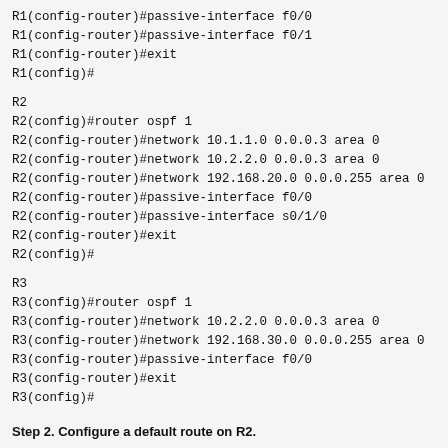R1(config-router)#passive-interface f0/0
R1(config-router)#passive-interface f0/1
R1(config-router)#exit
R1(config)#
R2
R2(config)#router ospf 1
R2(config-router)#network 10.1.1.0 0.0.0.3 area 0
R2(config-router)#network 10.2.2.0 0.0.0.3 area 0
R2(config-router)#network 192.168.20.0 0.0.0.255 area 0
R2(config-router)#passive-interface f0/0
R2(config-router)#passive-interface s0/1/0
R2(config-router)#exit
R2(config)#
R3
R3(config)#router ospf 1
R3(config-router)#network 10.2.2.0 0.0.0.3 area 0
R3(config-router)#network 192.168.30.0 0.0.0.255 area 0
R3(config-router)#passive-interface f0/0
R3(config-router)#exit
R3(config)#
Step 2. Configure a default route on R2.
Configure a default route to ISP, specifying the outgoing interface on R2 as t